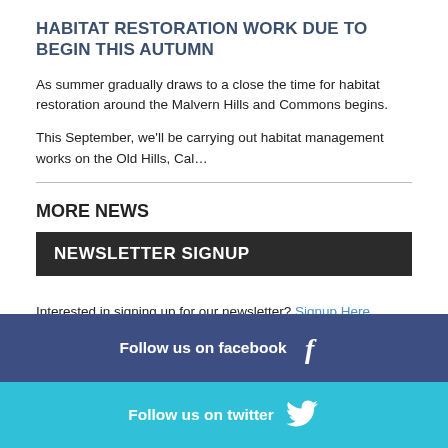HABITAT RESTORATION WORK DUE TO BEGIN THIS AUTUMN
As summer gradually draws to a close the time for habitat restoration around the Malvern Hills and Commons begins.
This September, we'll be carrying out habitat management works on the Old Hills, Cal…
MORE NEWS
NEWSLETTER SIGNUP
Interested in signing up for our newsletter? Signup Here
Follow us on facebook
Follow us on twitter